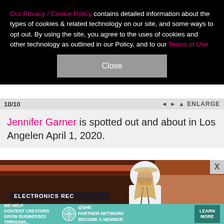Our Privacy / Cookie Policy contains detailed information about the types of cookies & related technology on our site, and some ways to opt out. By using the site, you agree to the uses of cookies and other technology as outlined in our Policy, and to our Terms of Use
Close
10/10
Jennifer Garner is spotted out and about in Los Angeles n April 1, 2020.
[Figure (photo): Jennifer Garner wearing a white hoodie and hat, standing outdoors near an electronics recycling sign, Los Angeles, April 1, 2020.]
WE HELP CONTENT CREATORS GROW BUSINESSES THROUGH... SHE PARTNER NETWORK BECOME A MEMBER LEARN MORE